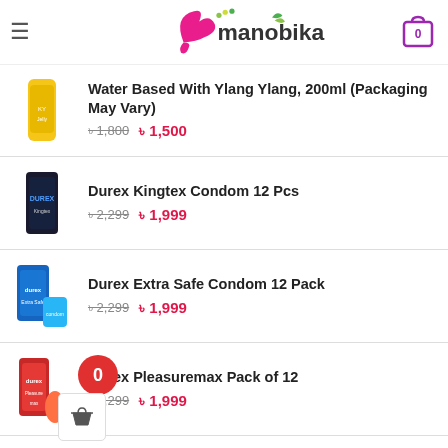manobika - e-commerce shop header with cart (0 items)
Water Based With Ylang Ylang, 200ml (Packaging May Vary) - Original price: ৳1,800 Sale price: ৳1,500
Durex Kingtex Condom 12 Pcs - Original price: ৳2,299 Sale price: ৳1,999
Durex Extra Safe Condom 12 Pack - Original price: ৳2,299 Sale price: ৳1,999
Durex Pleasuremax Pack of 12 - Original price: ৳2,299 Sale price: ৳1,999
Durex Close Fit Condom 12 Pcs - Original price: ৳2,299 Sale price: ৳1,999